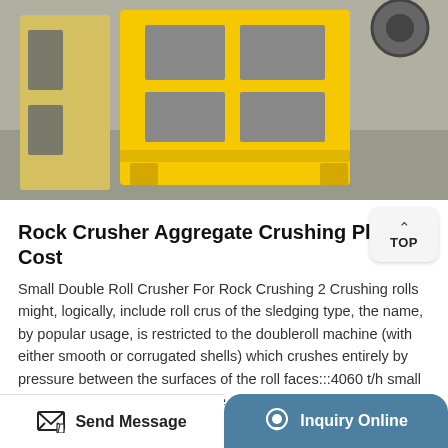[Figure (photo): Yellow rock crusher / jaw crusher machine photographed in a warehouse or industrial setting. The machine is painted bright yellow with a heavy steel frame structure.]
Rock Crusher Aggregate Crushing Plant Cost
Small Double Roll Crusher For Rock Crushing 2 Crushing rolls might, logically, include roll crus of the sledging type, the name, by popular usage, is restricted to the doubleroll machine (with either smooth or corrugated shells) which crushes entirely by pressure between the surfaces of the roll faces:::4060 t/h small size double roll crushers for sale 1Introduction to 4060 t/h small ...
Send Message   Inquiry Online